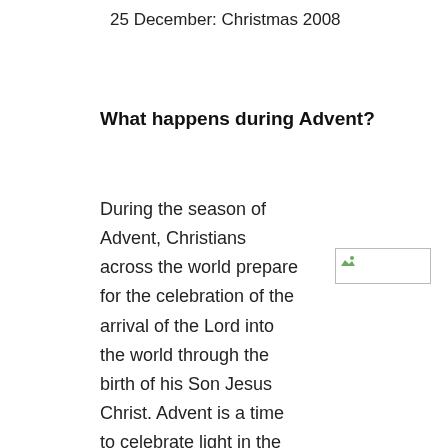25 December: Christmas 2008
What happens during Advent?
During the season of Advent, Christians across the world prepare for the celebration of the arrival of the Lord into the world through the birth of his Son Jesus Christ. Advent is a time to celebrate light in the midst of darkness. It is also a time to look
[Figure (photo): Broken/placeholder image thumbnail with small green icon in top-left corner]